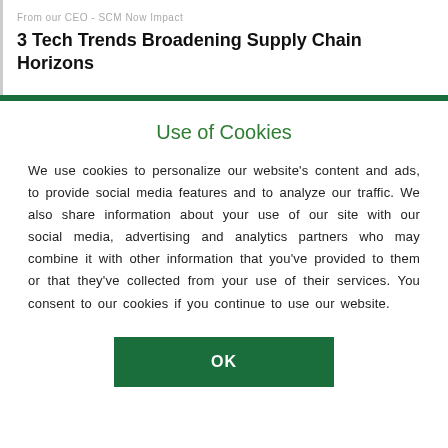From our CEO - SCM Now Impact
3 Tech Trends Broadening Supply Chain Horizons
Use of Cookies
We use cookies to personalize our website's content and ads, to provide social media features and to analyze our traffic. We also share information about your use of our site with our social media, advertising and analytics partners who may combine it with other information that you've provided to them or that they've collected from your use of their services. You consent to our cookies if you continue to use our website.
OK